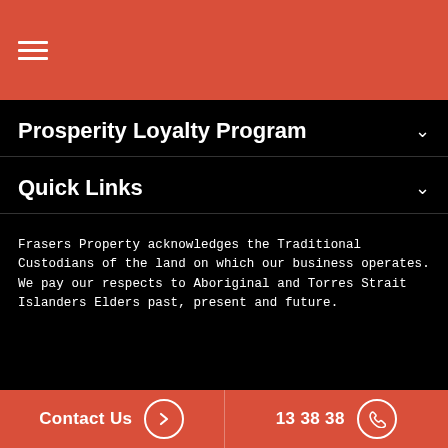Navigation menu (hamburger icon)
Prosperity Loyalty Program
Quick Links
Frasers Property acknowledges the Traditional Custodians of the land on which our business operates. We pay our respects to Aboriginal and Torres Strait Islanders Elders past, present and future.
Privacy   Terms   |   Call 13 38 38
Contact Us   13 38 38